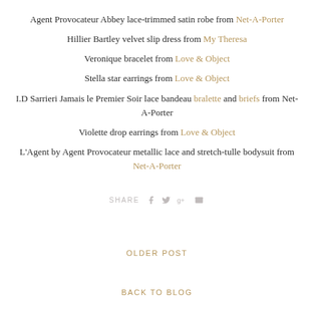Agent Provocateur Abbey lace-trimmed satin robe from Net-A-Porter
Hillier Bartley velvet slip dress from My Theresa
Veronique bracelet from Love & Object
Stella star earrings from Love & Object
I.D Sarrieri Jamais le Premier Soir lace bandeau bralette and briefs from Net-A-Porter
Violette drop earrings from Love & Object
L'Agent by Agent Provocateur metallic lace and stretch-tulle bodysuit from Net-A-Porter
SHARE
OLDER POST
BACK TO BLOG